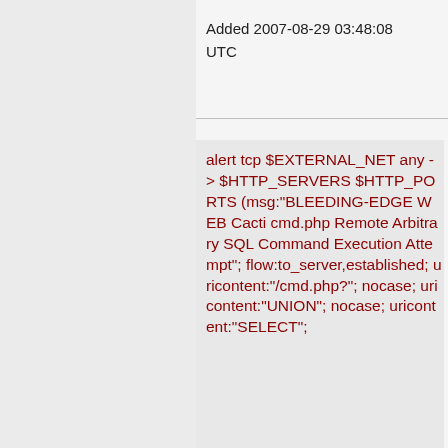Added 2007-08-29 03:48:08 UTC
alert tcp $EXTERNAL_NET any -> $HTTP_SERVERS $HTTP_PORTS (msg:"BLEEDING-EDGE WEB Cacti cmd.php Remote Arbitrary SQL Command Execution Attempt"; flow:to_server,established; uricontent:"/cmd.php?"; nocase; uricontent:"UNION"; nocase; uricontent:"SELECT";